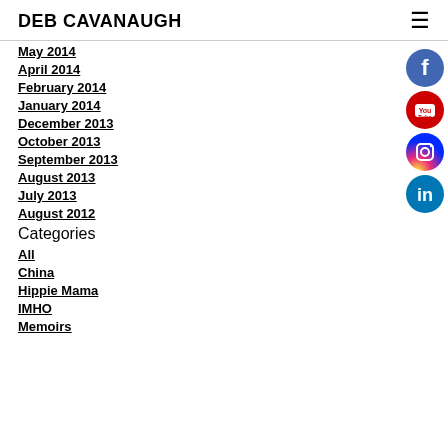DEB CAVANAUGH
May 2014
April 2014
February 2014
January 2014
December 2013
October 2013
September 2013
August 2013
July 2013
August 2012
Categories
All
China
Hippie Mama
IMHO
Memoirs
[Figure (illustration): Social media icons: Facebook (blue), YouTube (red), Instagram (pink/gradient), LinkedIn (blue)]